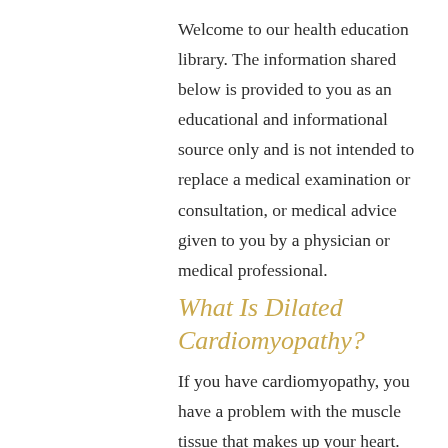Welcome to our health education library. The information shared below is provided to you as an educational and informational source only and is not intended to replace a medical examination or consultation, or medical advice given to you by a physician or medical professional.
What Is Dilated Cardiomyopathy?
If you have cardiomyopathy, you have a problem with the muscle tissue that makes up your heart. Dilated cardiomyopathy is the most common